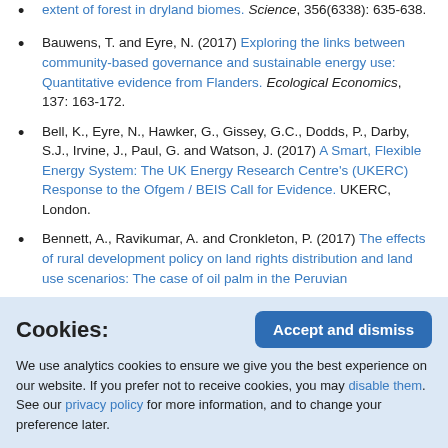extent of forest in dryland biomes. Science, 356(6338): 635-638.
Bauwens, T. and Eyre, N. (2017) Exploring the links between community-based governance and sustainable energy use: Quantitative evidence from Flanders. Ecological Economics, 137: 163-172.
Bell, K., Eyre, N., Hawker, G., Gissey, G.C., Dodds, P., Darby, S.J., Irvine, J., Paul, G. and Watson, J. (2017) A Smart, Flexible Energy System: The UK Energy Research Centre's (UKERC) Response to the Ofgem / BEIS Call for Evidence. UKERC, London.
Bennett, A., Ravikumar, A. and Cronkleton, P. (2017) The effects of rural development policy on land rights distribution and land use scenarios: The case of oil palm in the Peruvian Amazon and Use Polic...
Cookies: We use analytics cookies to ensure we give you the best experience on our website. If you prefer not to receive cookies, you may disable them. See our privacy policy for more information, and to change your preference later.